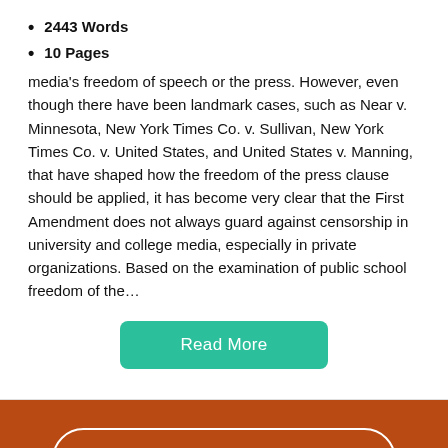2443 Words
10 Pages
media's freedom of speech or the press. However, even though there have been landmark cases, such as Near v. Minnesota, New York Times Co. v. Sullivan, New York Times Co. v. United States, and United States v. Manning, that have shaped how the freedom of the press clause should be applied, it has become very clear that the First Amendment does not always guard against censorship in university and college media, especially in private organizations. Based on the examination of public school freedom of the…
[Figure (other): Read More button — teal/green rounded rectangle with white text]
[Figure (other): Get Access button — white outlined rounded pill on burnt orange footer bar]